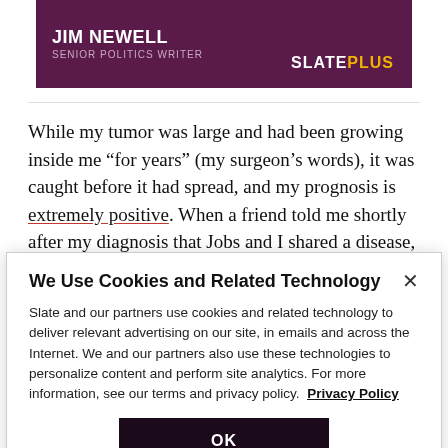[Figure (other): Slate Plus promotional banner with author name JIM NEWELL, title SENIOR POLITICS WRITER, and SLATE PLUS logo on dark purple background]
While my tumor was large and had been growing inside me “for years” (my surgeon’s words), it was caught before it had spread, and my prognosis is extremely positive. When a friend told me shortly after my diagnosis that Jobs and I shared a disease, I soaked up as
We Use Cookies and Related Technology
Slate and our partners use cookies and related technology to deliver relevant advertising on our site, in emails and across the Internet. We and our partners also use these technologies to personalize content and perform site analytics. For more information, see our terms and privacy policy.  Privacy Policy
OK